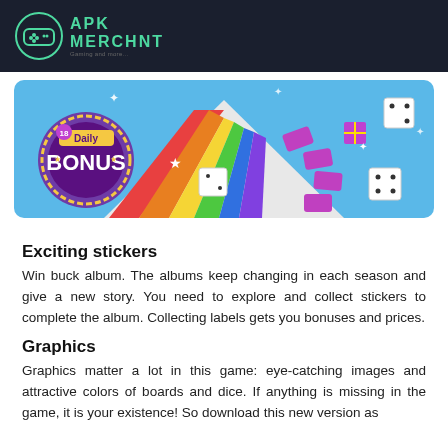APK MERCHNT
[Figure (screenshot): Colorful board game screenshot with rainbow path, 3D dice, gift boxes, and a 'Daily Bonus' badge on a blue background]
Exciting stickers
Win buck album. The albums keep changing in each season and give a new story. You need to explore and collect stickers to complete the album. Collecting labels gets you bonuses and prices.
Graphics
Graphics matter a lot in this game: eye-catching images and attractive colors of boards and dice. If anything is missing in the game, it is your existence! So download this new version as